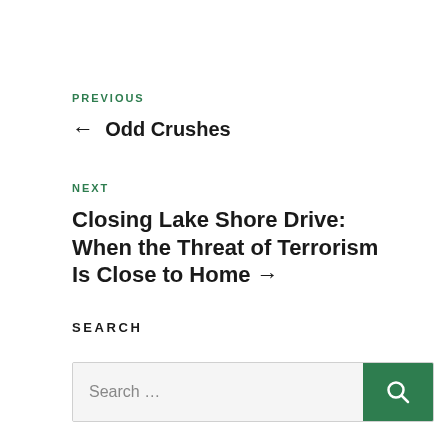PREVIOUS
← Odd Crushes
NEXT
Closing Lake Shore Drive: When the Threat of Terrorism Is Close to Home →
SEARCH
Search …